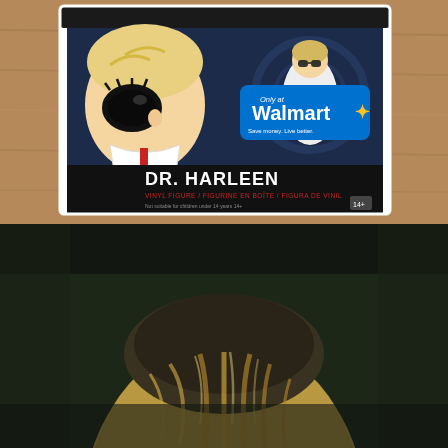[Figure (photo): A Funko Pop vinyl figure of DR. HARLEEN in its box, labeled 'Only at Walmart'. The box shows a cartoon-style figure of a woman with large black-framed glasses, blonde hair, and a white lab coat. The packaging has a black and white strip at the bottom with the name 'DR. HARLEEN' in bold white and red text, along with multilingual subtitle text. The figure sits on a wooden surface.]
[Figure (photo): A close-up photograph of the back of a person's head showing blonde hair with dark roots, in a dim, moody, dark green-tinted lighting environment.]